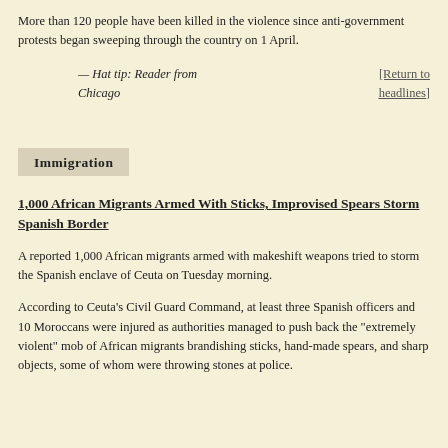More than 120 people have been killed in the violence since anti-government protests began sweeping through the country on 1 April.
— Hat tip: Reader from Chicago	[Return to headlines]
Immigration
1,000 African Migrants Armed With Sticks, Improvised Spears Storm Spanish Border
A reported 1,000 African migrants armed with makeshift weapons tried to storm the Spanish enclave of Ceuta on Tuesday morning.
According to Ceuta's Civil Guard Command, at least three Spanish officers and 10 Moroccans were injured as authorities managed to push back the "extremely violent" mob of African migrants brandishing sticks, hand-made spears, and sharp objects, some of whom were throwing stones at police.